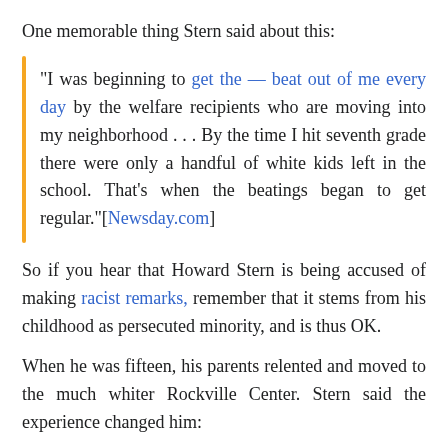One memorable thing Stern said about this:
"I was beginning to get the — beat out of me every day by the welfare recipients who are moving into my neighborhood . . . By the time I hit seventh grade there were only a handful of white kids left in the school. That's when the beatings began to get regular."[Newsday.com]
So if you hear that Howard Stern is being accused of making racist remarks, remember that it stems from his childhood as persecuted minority, and is thus OK.
When he was fifteen, his parents relented and moved to the much whiter Rockville Center. Stern said the experience changed him:
"I couldn't adjust at all. I was totally lost in a white